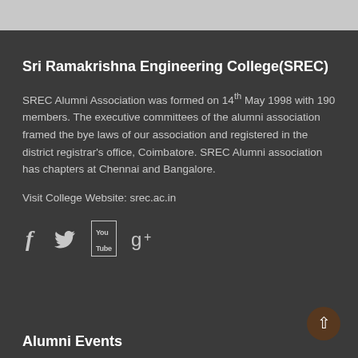Sri Ramakrishna Engineering College(SREC)
SREC Alumni Association was formed on 14th May 1998 with 190 members. The executive committees of the alumni association framed the bye laws of our association and registered in the district registrar's office, Coimbatore. SREC Alumni association has chapters at Chennai and Bangalore.
Visit College Website: srec.ac.in
[Figure (infographic): Social media icons: Facebook (f), Twitter (bird), YouTube (You Tube box), Google+ (g+)]
Alumni Events